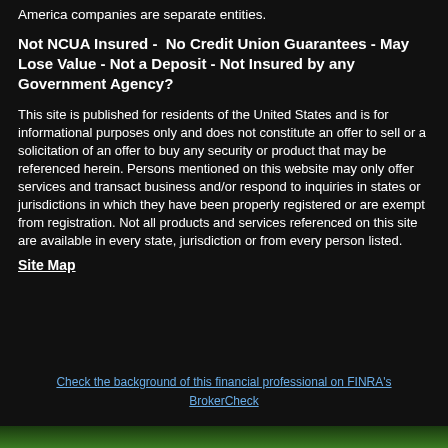America companies are separate entities.
Not NCUA Insured -  No Credit Union Guarantees - May Lose Value - Not a Deposit - Not Insured by any Government Agency?
This site is published for residents of the United States and is for informational purposes only and does not constitute an offer to sell or a solicitation of an offer to buy any security or product that may be referenced herein. Persons mentioned on this website may only offer services and transact business and/or respond to inquiries in states or jurisdictions in which they have been properly registered or are exempt from registration. Not all products and services referenced on this site are available in every state, jurisdiction or from every person listed.
Site Map
Check the background of this financial professional on FINRA's BrokerCheck